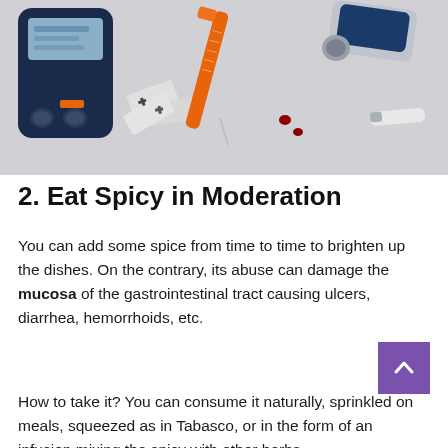[Figure (photo): Photo of diabetes medical equipment including a glucose meter, insulin syringe with orange cap, lancet device, test strips, and a small vial on a white background with drops of blood visible.]
2. Eat Spicy in Moderation
You can add some spice from time to time to brighten up the dishes. On the contrary, its abuse can damage the mucosa of the gastrointestinal tract causing ulcers, diarrhea, hemorrhoids, etc.
How to take it? You can consume it naturally, sprinkled on meals, squeezed as in Tabasco, or in the form of an infusion mixing the spicy with other herbs.